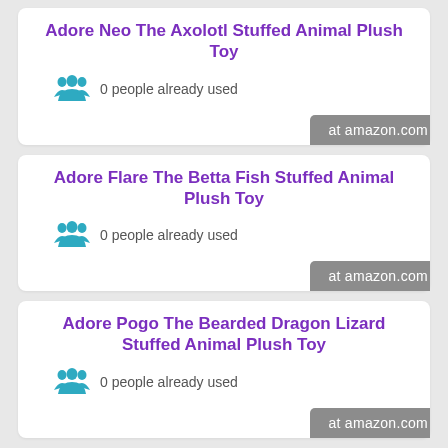Adore Neo The Axolotl Stuffed Animal Plush Toy
0 people already used
at amazon.com
Adore Flare The Betta Fish Stuffed Animal Plush Toy
0 people already used
at amazon.com
Adore Pogo The Bearded Dragon Lizard Stuffed Animal Plush Toy
0 people already used
at amazon.com
Adore Stardust Dragon The...